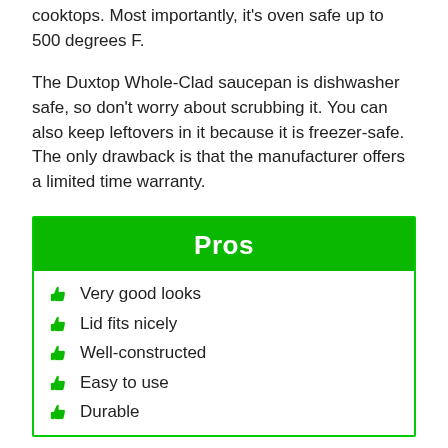cooktops. Most importantly, it's oven safe up to 500 degrees F.
The Duxtop Whole-Clad saucepan is dishwasher safe, so don't worry about scrubbing it. You can also keep leftovers in it because it is freezer-safe. The only drawback is that the manufacturer offers a limited time warranty.
| Pros |
| --- |
| Very good looks |
| Lid fits nicely |
| Well-constructed |
| Easy to use |
| Durable |